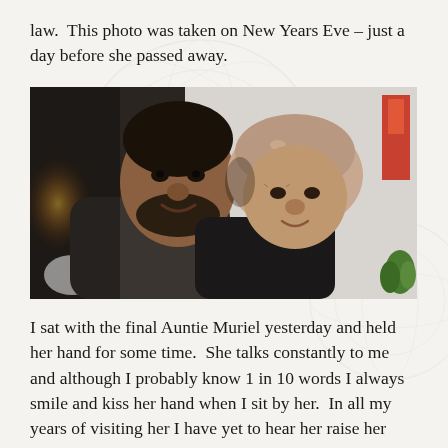law.  This photo was taken on New Years Eve – just a day before she passed away.
[Figure (photo): A man and an elderly woman posing cheek-to-cheek and smiling at the camera. The man is middle-aged with a beard, wearing a dark hoodie. The elderly woman wears a floral headscarf and dark clothing. Background shows a light-colored wall with a small plant and a red object visible on the right side. The lighting is warm on the left side.]
I sat with the final Auntie Muriel yesterday and held her hand for some time.  She talks constantly to me and although I probably know 1 in 10 words I always smile and kiss her hand when I sit by her.  In all my years of visiting her I have yet to hear her raise her voice.  She knew how much